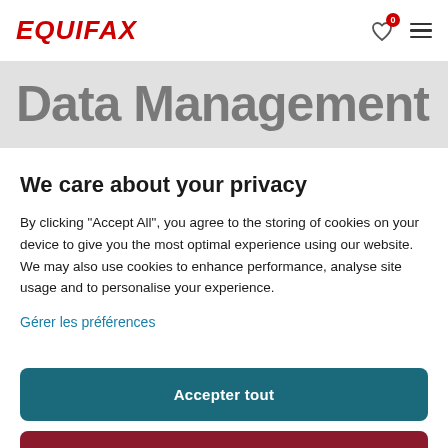EQUIFAX
Data Management
We care about your privacy
By clicking "Accept All", you agree to the storing of cookies on your device to give you the most optimal experience using our website. We may also use cookies to enhance performance, analyse site usage and to personalise your experience.
Gérer les préférences
Accepter tout
Uniquement Essentiel